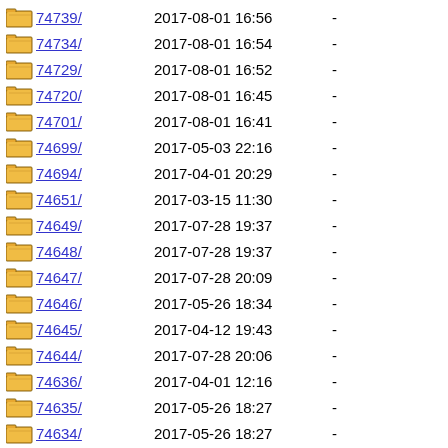74739/ 2017-08-01 16:56 -
74734/ 2017-08-01 16:54 -
74729/ 2017-08-01 16:52 -
74720/ 2017-08-01 16:45 -
74701/ 2017-08-01 16:41 -
74699/ 2017-05-03 22:16 -
74694/ 2017-04-01 20:29 -
74651/ 2017-03-15 11:30 -
74649/ 2017-07-28 19:37 -
74648/ 2017-07-28 19:37 -
74647/ 2017-07-28 20:09 -
74646/ 2017-05-26 18:34 -
74645/ 2017-04-12 19:43 -
74644/ 2017-07-28 20:06 -
74636/ 2017-04-01 12:16 -
74635/ 2017-05-26 18:27 -
74634/ 2017-05-26 18:27 -
74633/ 2017-05-26 18:27 -